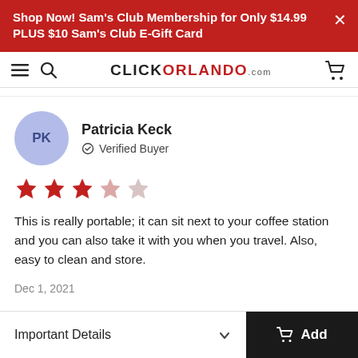Shop Now! Sam's Club Membership for Only $14.99 PLUS $10 Sam's Club E-Gift Card
CLICKORLANDO.com
Patricia Keck
Verified Buyer
[Figure (other): 3 out of 5 star rating shown with red/pink filled stars]
This is really portable; it can sit next to your coffee station and you can also take it with you when you travel. Also, easy to clean and store.
Dec 1, 2021
Important Details  Add